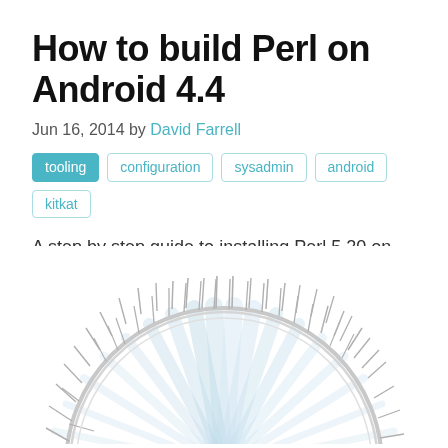How to build Perl on Android 4.4
Jun 16, 2014 by David Farrell
tooling  configuration  sysadmin  android  kitkat
A step by step guide to installing Perl 5.20 on Android KitKat
Read it
[Figure (illustration): Circular illustration of a sunburst or mandala-like design with silver/grey spiky edges and blue radial rays in the center, partially visible at the bottom of the page.]